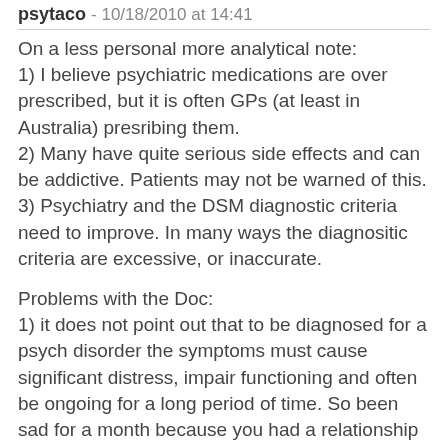psytaco - 10/18/2010 at 14:41
On a less personal more analytical note:
1) I believe psychiatric medications are over prescribed, but it is often GPs (at least in Australia) presribing them.
2) Many have quite serious side effects and can be addictive. Patients may not be warned of this.
3) Psychiatry and the DSM diagnostic criteria need to improve. In many ways the diagnositic criteria are excessive, or inaccurate.
Problems with the Doc:
1) it does not point out that to be diagnosed for a psych disorder the symptoms must cause significant distress, impair functioning and often be ongoing for a long period of time. So been sad for a month because you had a relationship breakup is not depression.
2) It does not point out the incedible benefits many people have due to psychiatric drugs. These drugs would of saved many many lives (prevented suicide),